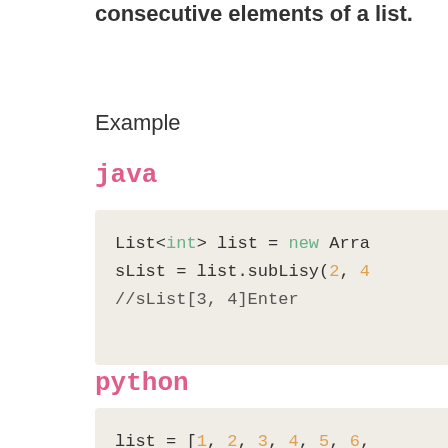consecutive elements of a list.
Example
java
List<int> list = new Arra
slist = list.subLisy(2, 4
//sList[3, 4]Enter
python
list = [1, 2, 3, 4, 5, 6,
sList1 = list[2:4]
#sList1[3, 4]Enter

sList2 = list[:5]
#sList2[1, 2, 3, 4, 5]Ent